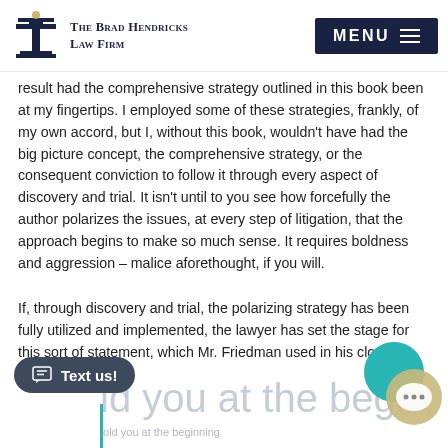The Brad Hendricks Law Firm | MENU
result had the comprehensive strategy outlined in this book been at my fingertips. I employed some of these strategies, frankly, of my own accord, but I, without this book, wouldn't have had the big picture concept, the comprehensive strategy, or the consequent conviction to follow it through every aspect of discovery and trial. It isn't until to you see how forcefully the author polarizes the issues, at every step of litigation, that the approach begins to make so much sense. It requires boldness and aggression – malice aforethought, if you will.
If, through discovery and trial, the polarizing strategy has been fully utilized and implemented, the lawyer has set the stage for this sort of statement, which Mr. Friedman used in his closing:
ld you at the beginning